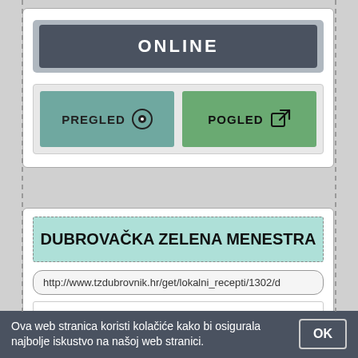[Figure (screenshot): UI card with ONLINE label button in dark slate color, and two action buttons: PREGLED (preview, teal) and POGLED (view/open, green) with icons]
DUBROVAČKA ZELENA MENESTRA
http://www.tzdubrovnik.hr/get/lokalni_recepti/1302/d
Razlikuju se tri vrste zelene menestre. Dubrovačka zelena menestra. Gradska ova koja je objašnjena,
Ova web stranica koristi kolačiće kako bi osigurala najbolje iskustvo na našoj web stranici.  OK